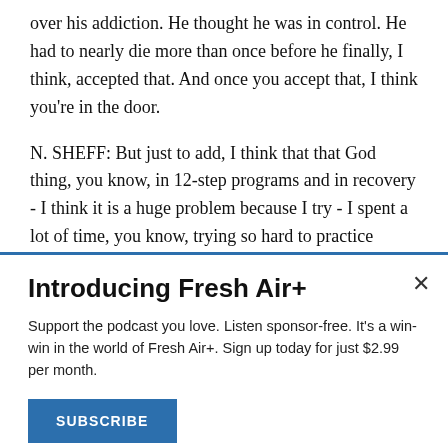over his addiction. He thought he was in control. He had to nearly die more than once before he finally, I think, accepted that. And once you accept that, I think you're in the door.
N. SHEFF: But just to add, I think that that God thing, you know, in 12-step programs and in recovery - I think it is a huge problem because I try - I spent a lot of time, you know, trying so hard to practice prayer and doing all this stuff to make myself, you know, come to believe. And ultimately, you know, when I sit with myself in the quiet moments, you
Introducing Fresh Air+
Support the podcast you love. Listen sponsor-free. It's a win-win in the world of Fresh Air+. Sign up today for just $2.99 per month.
SUBSCRIBE